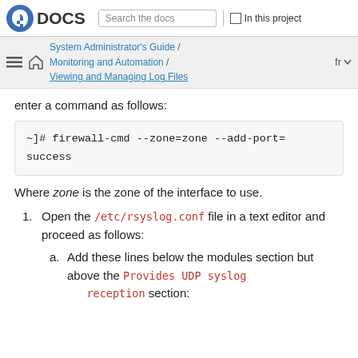Fedora DOCS — Search the docs | In this project
System Administrator's Guide / Monitoring and Automation / Viewing and Managing Log Files   fr
enter a command as follows:
~]# firewall-cmd --zone=zone --add-port=
success
Where zone is the zone of the interface to use.
1. Open the /etc/rsyslog.conf file in a text editor and proceed as follows:
a. Add these lines below the modules section but above the Provides UDP syslog reception section: